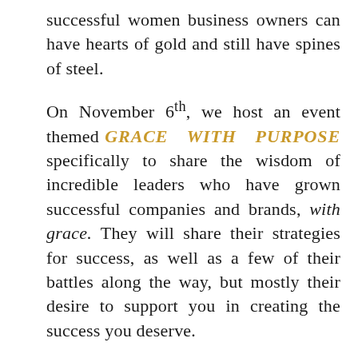successful women business owners can have hearts of gold and still have spines of steel.
On November 6th, we host an event themed GRACE WITH PURPOSE specifically to share the wisdom of incredible leaders who have grown successful companies and brands, with grace. They will share their strategies for success, as well as a few of their battles along the way, but mostly their desire to support you in creating the success you deserve.